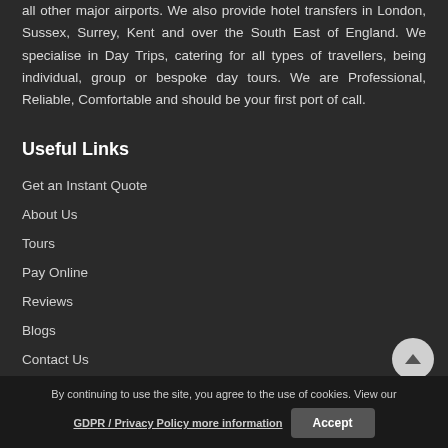all other major airports. We also provide hotel transfers in London, Sussex, Surrey, Kent and over the South East of England. We specialise in Day Trips, catering for all types of travellers, being individual, group or bespoke day tours. We are Professional, Reliable, Comfortable and should be your first port of call.
Useful Links
Get an Instant Quote
About Us
Tours
Pay Online
Reviews
Blogs
Contact Us
By continuing to use the site, you agree to the use of cookies. View our GDPR / Privacy Policy more information
Accept